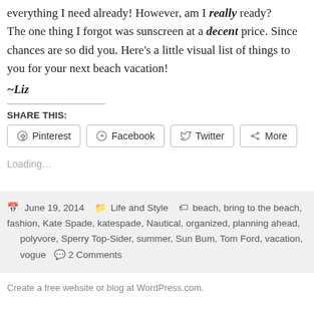everything I need already! However, am I really ready? The one thing I forgot was sunscreen at a decent price. Since chances are so did you. Here's a little visual list of things to you for your next beach vacation!
~Liz
SHARE THIS:
Pinterest  Facebook  Twitter  More
Loading...
June 19, 2014   Life and Style   beach, bring to the beach, fashion, Kate Spade, katespade, Nautical, organized, planning ahead, polyvore, Sperry Top-Sider, summer, Sun Bum, Tom Ford, vacation, vogue   2 Comments
Create a free website or blog at WordPress.com.